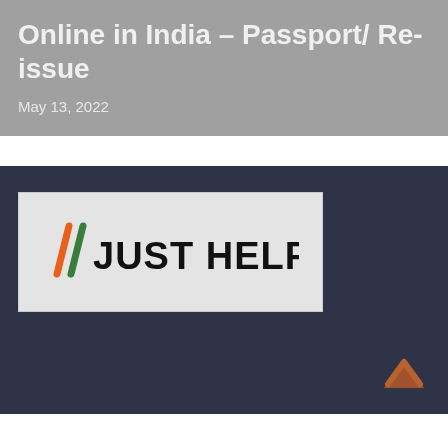Online in India – Passport/ Re-issue
May 13, 2022
[Figure (logo): Just HelpLine logo with two diagonal slashes in orange and green colors followed by bold text 'JUST HELPLINE']